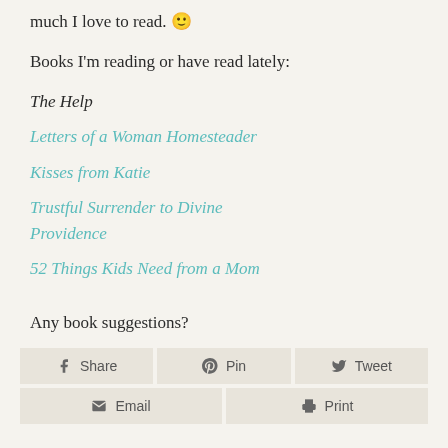much I love to read. 🙂
Books I'm reading or have read lately:
The Help
Letters of a Woman Homesteader
Kisses from Katie
Trustful Surrender to Divine Providence
52 Things Kids Need from a Mom
Any book suggestions?
Share | Pin | Tweet | Email | Print